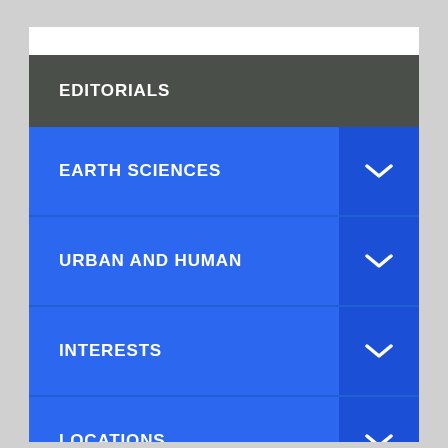EDITORIALS
EARTH SCIENCES
URBAN AND HUMAN
INTERESTS
LOCATIONS
BOOK REVIEWS